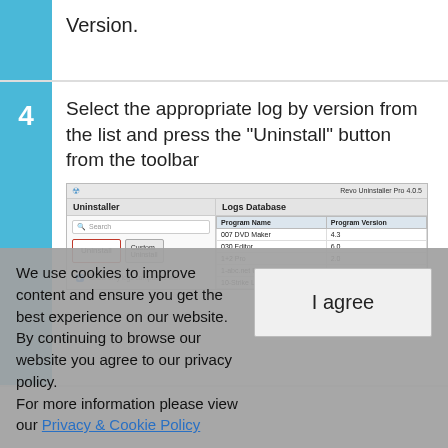Version.
4. Select the appropriate log by version from the list and press the "Uninstall" button from the toolbar
[Figure (screenshot): Screenshot of Revo Uninstaller Pro 4.0.5 showing the Logs Database panel with an Uninstall button highlighted in red, and a list of programs with their versions.]
We use cookies to improve content and ensure you get the best experience on our website. By continuing to browse our website you agree to our privacy policy. For more information please view our Privacy & Cookie Policy